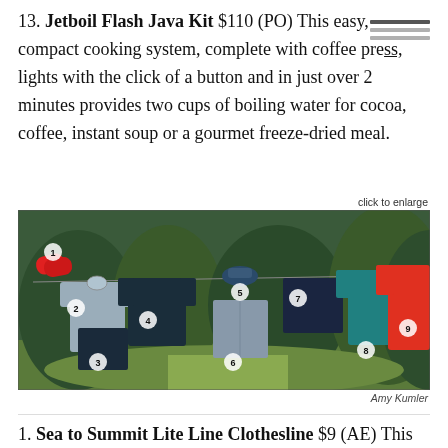13. Jetboil Flash Java Kit $110 (PO) This easy, compact cooking system, complete with coffee press, lights with the click of a button and in just over 2 minutes provides two cups of boiling water for cocoa, coffee, instant soup or a gourmet freeze-dried meal.
click to enlarge
[Figure (photo): Outdoor clothesline with numbered clothing items hanging against a garden background. Items numbered 1-9 visible: flip flops (1), shirts and pants in various colors including grey, blue, teal, and red.]
Amy Kumler
1. Sea to Summit Lite Line Clothesline $9 (AE) This